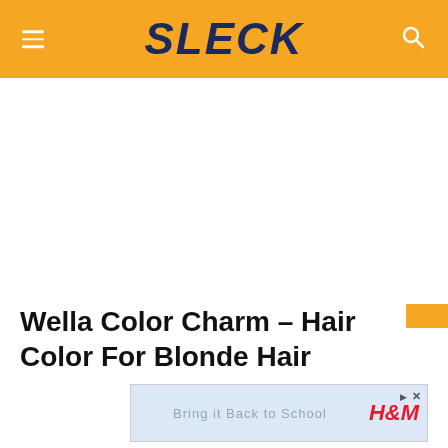SLECK
[Figure (other): Large white advertisement/content area placeholder]
Wella Color Charm – Hair Color For Blonde Hair
[Figure (other): H&M advertisement banner: 'Bring it Back to School' with H&M logo and play/close icons]